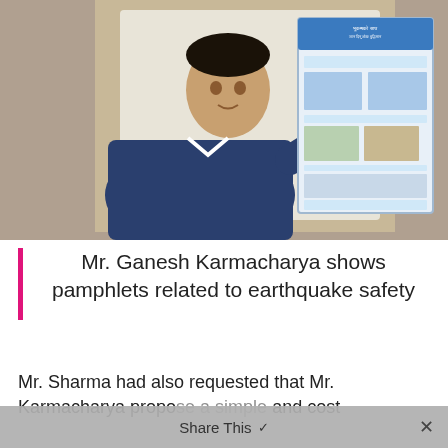[Figure (photo): A man in a blue jacket holding up and pointing to a informational pamphlet/poster related to earthquake safety, mounted on a wall.]
Mr. Ganesh Karmacharya shows pamphlets related to earthquake safety
Mr. Sharma had also requested that Mr. Karmacharya propose a simple and cost